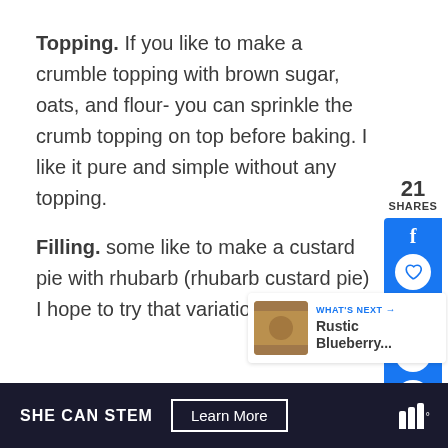Topping. If you like to make a crumble topping with brown sugar, oats, and flour- you can sprinkle the crumb topping on top before baking. I like it pure and simple without any topping.
Filling. some like to make a custard pie with rhubarb (rhubarb custard pie) I hope to try that variation soon!
[Figure (infographic): Social sharing sidebar with 21 shares count, Facebook share button (blue), heart/like icon circle, pin icon circle with count 24, and share icon circle]
[Figure (infographic): What's Next card with a food photo thumbnail and text 'Rustic Blueberry...']
SHE CAN STEM  Learn More